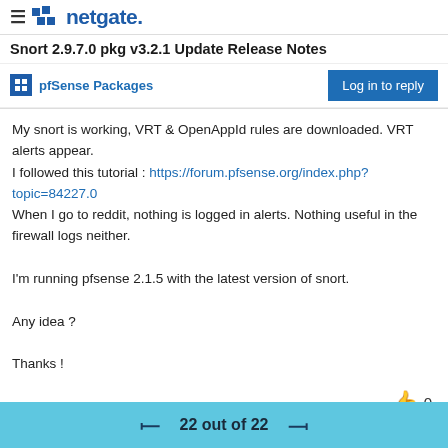≡ netgate.
Snort 2.9.7.0 pkg v3.2.1 Update Release Notes
pfSense Packages
My snort is working, VRT & OpenAppId rules are downloaded. VRT alerts appear.
I followed this tutorial : https://forum.pfsense.org/index.php?topic=84227.0
When I go to reddit, nothing is logged in alerts. Nothing useful in the firewall logs neither.

I'm running pfsense 2.1.5 with the latest version of snort.

Any idea ?

Thanks !
22 out of 22